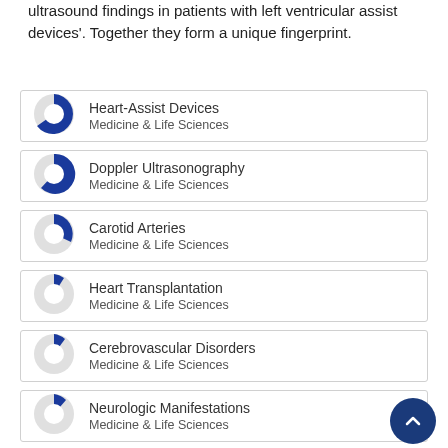ultrasound findings in patients with left ventricular assist devices'. Together they form a unique fingerprint.
Heart-Assist Devices — Medicine & Life Sciences
Doppler Ultrasonography — Medicine & Life Sciences
Carotid Arteries — Medicine & Life Sciences
Heart Transplantation — Medicine & Life Sciences
Cerebrovascular Disorders — Medicine & Life Sciences
Neurologic Manifestations — Medicine & Life Sciences